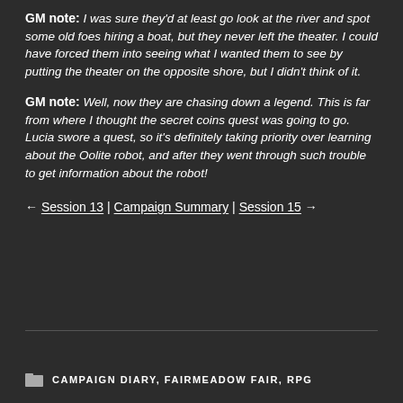GM note: I was sure they'd at least go look at the river and spot some old foes hiring a boat, but they never left the theater. I could have forced them into seeing what I wanted them to see by putting the theater on the opposite shore, but I didn't think of it.
GM note: Well, now they are chasing down a legend. This is far from where I thought the secret coins quest was going to go. Lucia swore a quest, so it's definitely taking priority over learning about the Oolite robot, and after they went through such trouble to get information about the robot!
← Session 13 | Campaign Summary | Session 15 →
CAMPAIGN DIARY, FAIRMEADOW FAIR, RPG